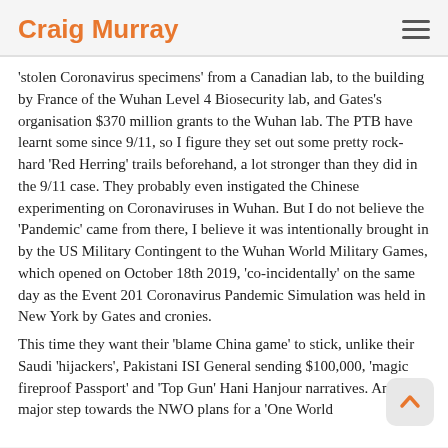Craig Murray
'stolen Coronavirus specimens' from a Canadian lab, to the building by France of the Wuhan Level 4 Biosecurity lab, and Gates's organisation $370 million grants to the Wuhan lab. The PTB have learnt some since 9/11, so I figure they set out some pretty rock-hard 'Red Herring' trails beforehand, a lot stronger than they did in the 9/11 case. They probably even instigated the Chinese experimenting on Coronaviruses in Wuhan. But I do not believe the 'Pandemic' came from there, I believe it was intentionally brought in by the US Military Contingent to the Wuhan World Military Games, which opened on October 18th 2019, 'co-incidentally' on the same day as the Event 201 Coronavirus Pandemic Simulation was held in New York by Gates and cronies.
This time they want their 'blame China game' to stick, unlike their Saudi 'hijackers', Pakistani ISI General sending $100,000, 'magic fireproof Passport' and 'Top Gun' Hani Hanjour narratives. Another major step towards the NWO plans for a 'One World